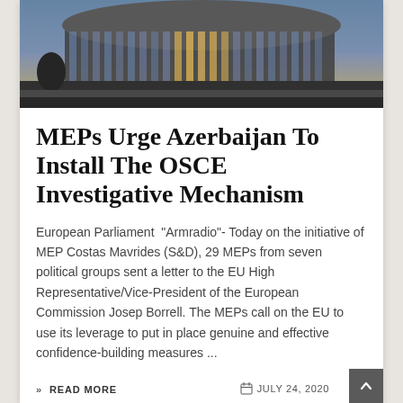[Figure (photo): European Parliament building exterior photograph, showing the modern curved glass facade at dusk/evening with blue and gold lighting.]
MEPs Urge Azerbaijan To Install The OSCE Investigative Mechanism
European Parliament  "Armradio"- Today on the initiative of MEP Costas Mavrides (S&D), 29 MEPs from seven political groups sent a letter to the EU High Representative/Vice-President of the European Commission Josep Borrell. The MEPs call on the EU to use its leverage to put in place genuine and effective confidence-building measures ...
» READ MORE
JULY 24, 2020